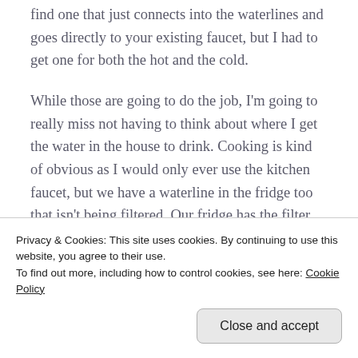find one that just connects into the waterlines and goes directly to your existing faucet, but I had to get one for both the hot and the cold.
While those are going to do the job, I'm going to really miss not having to think about where I get the water in the house to drink. Cooking is kind of obvious as I would only ever use the kitchen faucet, but we have a waterline in the fridge too that isn't being filtered. Our fridge has the filter option, but we don't have a filter for it as it wasn't needed. The filters for those aren't as good as what I'd like, so I
Privacy & Cookies: This site uses cookies. By continuing to use this website, you agree to their use.
To find out more, including how to control cookies, see here: Cookie Policy